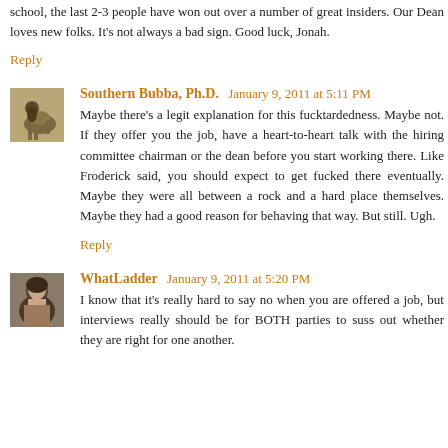school, the last 2-3 people have won out over a number of great insiders. Our Dean loves new folks. It's not always a bad sign. Good luck, Jonah.
Reply
Southern Bubba, Ph.D.  January 9, 2011 at 5:11 PM
Maybe there's a legit explanation for this fucktardedness. Maybe not. If they offer you the job, have a heart-to-heart talk with the hiring committee chairman or the dean before you start working there. Like Froderick said, you should expect to get fucked there eventually. Maybe they were all between a rock and a hard place themselves. Maybe they had a good reason for behaving that way. But still. Ugh.
Reply
WhatLadder  January 9, 2011 at 5:20 PM
I know that it's really hard to say no when you are offered a job, but interviews really should be for BOTH parties to suss out whether they are right for one another.